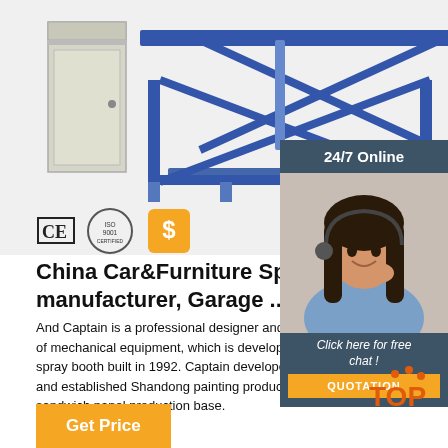[Figure (photo): Product images showing a grey cabinet/locker and a blue scissor lift platform, along with CE, ISO 9001 and dollar sign badges]
China Car&Furniture Spray Booth manufacturer, Garage ...
And Captain is a professional designer and manufacturer of mechanical equipment, which is developed from SR spray booth built in 1992. Captain developed day by day, and established Shandong painting production base and sandwich panel production base.
[Figure (illustration): 24/7 Online chat panel with a customer service agent photo, 'Click here for free chat!' text and QUOTATION button]
[Figure (illustration): TOP badge with orange paw prints]
Get Price